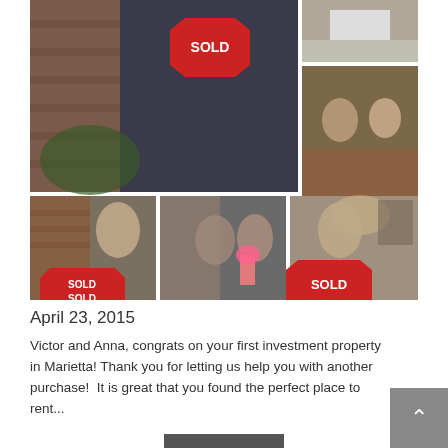[Figure (photo): Photo collage showing real estate sold celebrations. Large left photo: two women holding a SOLD sign in front of a brick building with a dog on leash. Top right: family photo on porch. Middle right: a man and woman sitting on a couch in business attire. Bottom left: woman holding a SOLD sign. Bottom middle: couple holding flowers. Bottom right: woman holding a SOLD sign indoors.]
April 23, 2015
Victor and Anna, congrats on your first investment property in Marietta! Thank you for letting us help you with another purchase!  It is great that you found the perfect place to rent...